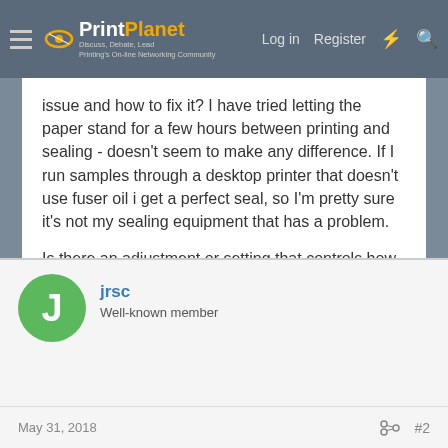PrintPlanet — Discuss, Debate, Lead. Printing's On-line Networking Community. Log in | Register
issue and how to fix it? I have tried letting the paper stand for a few hours between printing and sealing - doesn't seem to make any difference. If I run samples through a desktop printer that doesn't use fuser oil i get a perfect seal, so I'm pretty sure it's not my sealing equipment that has a problem.

Is there an adjustment or setting that controls how much fuser oil gets applied to each sheet? Maybe I could dial back on the amount of fuser oil that gets deposited?

Any insight gratefully appreciated,

Doug
jrsc
Well-known member
May 31, 2018
#2